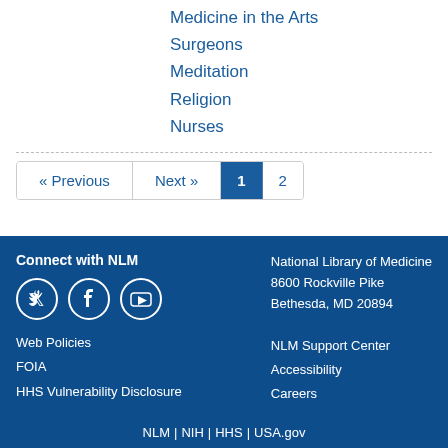Medicine in the Arts
Surgeons
Meditation
Religion
Nurses
« Previous  Next »  1  2
Connect with NLM
National Library of Medicine
8600 Rockville Pike
Bethesda, MD 20894
Web Policies
FOIA
HHS Vulnerability Disclosure
NLM Support Center
Accessibility
Careers
NLM | NIH | HHS | USA.gov